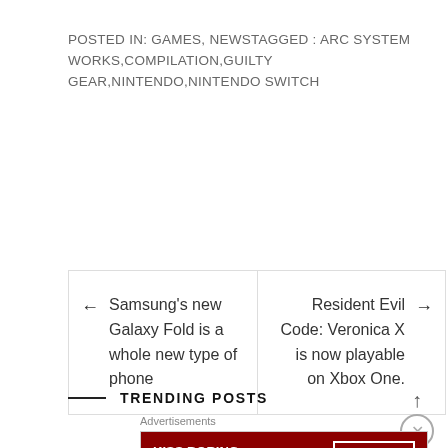POSTED IN: GAMES, NEWSTAGGED : ARC SYSTEM WORKS,COMPILATION,GUILTY GEAR,NINTENDO,NINTENDO SWITCH
← Samsung's new Galaxy Fold is a whole new type of phone
Resident Evil Code: Veronica X is now playable on Xbox One. →
TRENDING POSTS
Advertisements
[Figure (illustration): Macy's advertisement banner: 'KISS BORING LIPS GOODBYE' with SHOP NOW button and Macy's star logo on dark red background with woman's face]